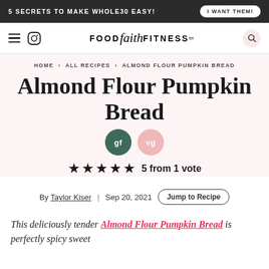5 SECRETS TO MAKE WHOLE30 EASY! | I WANT THEM!
FOOD faith FITNESS™
HOME > ALL RECIPES > ALMOND FLOUR PUMPKIN BREAD
Almond Flour Pumpkin Bread
gf vg
★★★★★ 5 from 1 vote
By Taylor Kiser | Sep 20, 2021 | Jump to Recipe
This deliciously tender Almond Flour Pumpkin Bread is perfectly spicy sweet